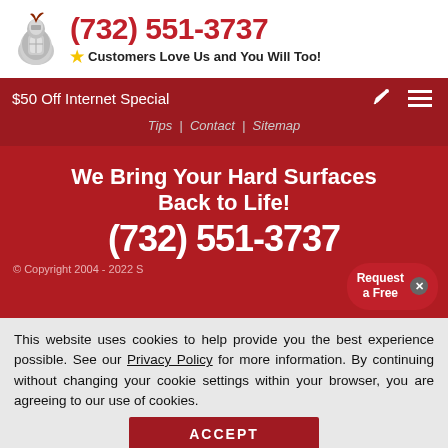(732) 551-3737 — Customers Love Us and You Will Too!
$50 Off Internet Special
Tips | Contact | Sitemap
We Bring Your Hard Surfaces Back to Life!
(732) 551-3737
© Copyright 2004 - 2022 S...
Request a Free
This website uses cookies to help provide you the best experience possible. See our Privacy Policy for more information. By continuing without changing your cookie settings within your browser, you are agreeing to our use of cookies.
ACCEPT